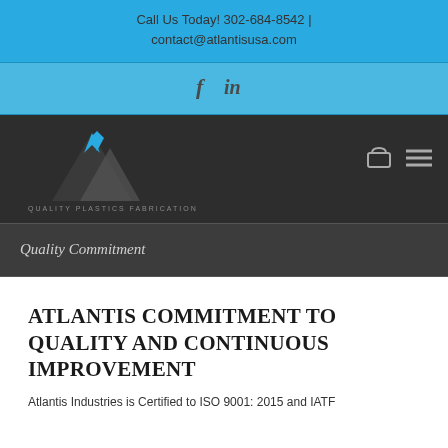Call Us Today! 302-684-8542 | contact@atlantisusa.com
[Figure (logo): Facebook and LinkedIn social media icons]
[Figure (logo): Atlantis Industries logo with triangular mountain-style icon and company name]
Quality Commitment
ATLANTIS COMMITMENT TO QUALITY AND CONTINUOUS IMPROVEMENT
Atlantis Industries is Certified to ISO 9001: 2015 and IATF